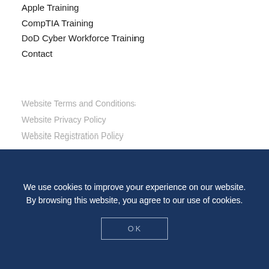Apple Training
CompTIA Training
DoD Cyber Workforce Training
Contact
Website Terms and Conditions
Website Privacy Policy
Website Registration Policy
Copyright Aimpoint Solutions, LLC (2021)
[Figure (logo): CompTIA Authorized logo badge — red rounded rectangle with CompTIA. text in white, dark navy inner box with AUTHORIZED text]
We use cookies to improve your experience on our website. By browsing this website, you agree to our use of cookies.
OK